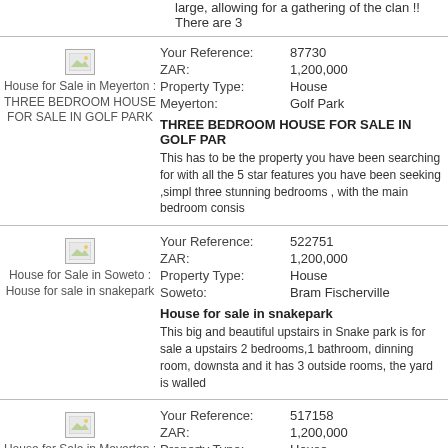large, allowing for a gathering of the clan !! There are 3
[Figure (photo): House for Sale in Meyerton : THREE BEDROOM HOUSE FOR SALE IN GOLF PARK thumbnail]
| Field | Value |
| --- | --- |
| Your Reference: | 87730 |
| ZAR: | 1,200,000 |
| Property Type: | House |
| Meyerton: | Golf Park |
THREE BEDROOM HOUSE FOR SALE IN GOLF PAR
This has to be the property you have been searching for with all the 5 star features you have been seeking ,simpl three stunning bedrooms , with the main bedroom consis
[Figure (photo): House for Sale in Soweto : House for sale in snakepark thumbnail]
| Field | Value |
| --- | --- |
| Your Reference: | 522751 |
| ZAR: | 1,200,000 |
| Property Type: | House |
| Soweto: | Bram Fischerville |
House for sale in snakepark
This big and beautiful upstairs in Snake park is for sale a upstairs 2 bedrooms,1 bathroom, dinning room, downsta and it has 3 outside rooms, the yard is walled
[Figure (photo): House for Sale in Meyerton : 4 intact Massive bedroom house ready to move house at Meyerton thumbnail]
| Field | Value |
| --- | --- |
| Your Reference: | 517158 |
| ZAR: | 1,200,000 |
| Property Type: | House |